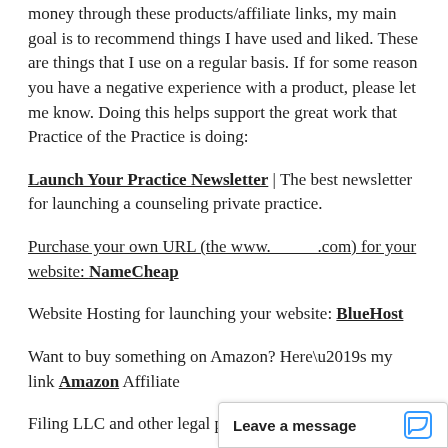money through these products/affiliate links, my main goal is to recommend things I have used and liked. These are things that I use on a regular basis. If for some reason you have a negative experience with a product, please let me know. Doing this helps support the great work that Practice of the Practice is doing:
Launch Your Practice Newsletter | The best newsletter for launching a counseling private practice.
Purchase your own URL (the www._____.com) for your website: NameCheap
Website Hosting for launching your website: BlueHost
Want to buy something on Amazon? Here’s my link Amazon Affiliate
Filing LLC and other legal paperwork: LegalZoom
Leave a message